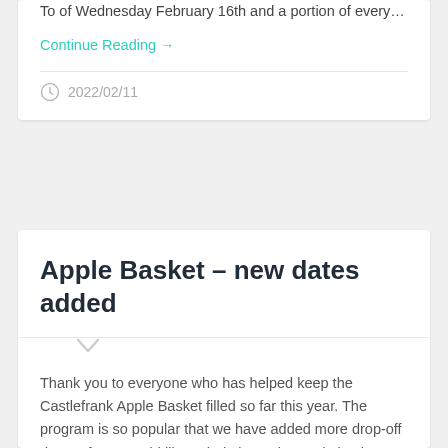To of Wednesday February 16th and a portion of every…
Continue Reading →
2022/02/11
Apple Basket – new dates added
Thank you to everyone who has helped keep the Castlefrank Apple Basket filled so far this year. The program is so popular that we have added more drop-off dates! If you would like to help keep the apple basket filled,…